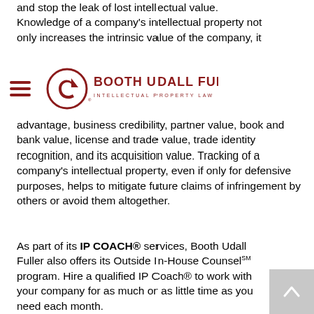and stop the leak of lost intellectual value. Knowledge of a company's intellectual property not only increases the intrinsic value of the company, it
[Figure (logo): Booth Udall Fuller Intellectual Property Law logo with circular arrow emblem and hamburger menu icon]
advantage, business credibility, partner value, book and bank value, license and trade value, trade identity recognition, and its acquisition value. Tracking of a company's intellectual property, even if only for defensive purposes, helps to mitigate future claims of infringement by others or avoid them altogether.
As part of its IP COACH® services, Booth Udall Fuller also offers its Outside In-House Counsel SM program. Hire a qualified IP Coach® to work with your company for as much or as little time as you need each month.